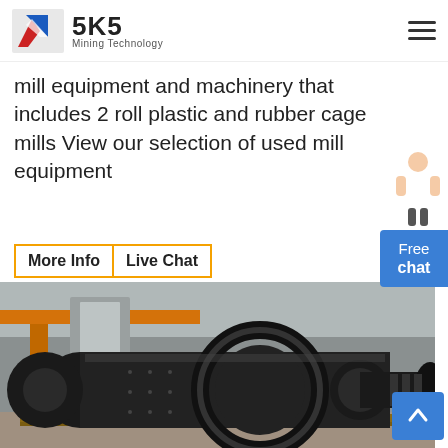SKS Mining Technology
mill equipment and machinery that includes 2 roll plastic and rubber cage mills View our selection of used mill equipment
[Figure (photo): Large industrial ball mill with gear ring, cylindrical drum, and flanged shaft, sitting on wooden pallets in a factory warehouse with orange crane beams visible in background]
More Info | Live Chat
Free chat